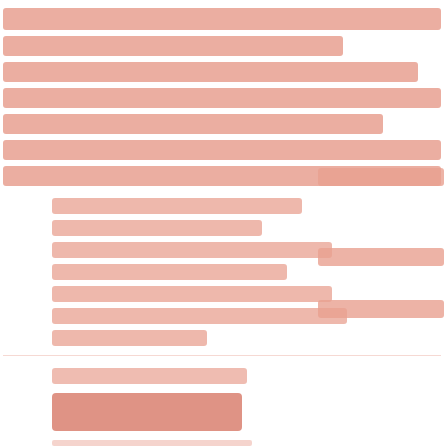[Figure (other): A page with heavily redacted/anonymized text content. All text appears in a light salmon/pink color against a white background, rendered in a way that obscures the actual content. The text fills the upper two-thirds of the page in what appears to be body text and a list. The lower portion contains a shorter text line, a highlighted/colored rectangular block, and additional faint text at the very bottom.]